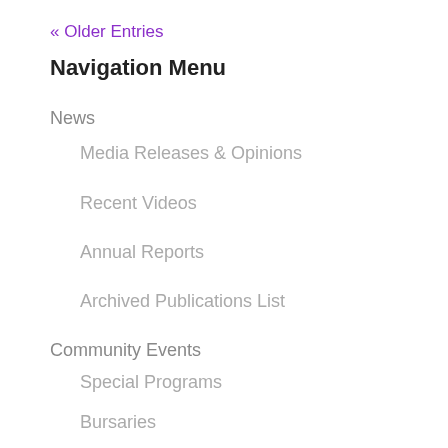« Older Entries
Navigation Menu
News
Media Releases & Opinions
Recent Videos
Annual Reports
Archived Publications List
Community Events
Special Programs
Bursaries
International Women's Day
Purple Ribbon Campaign
Resources for Teachers
Montreal Massacre Memorial Service